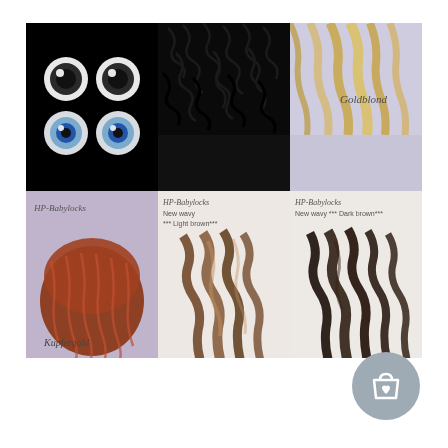[Figure (photo): A 2x3 photo collage of doll-making supplies: top-left shows glass doll eyes (black background with two pairs of blue/grey eyes), top-middle shows black curly doll hair, top-right shows blonde straight hair labeled 'Goldblond', bottom-left shows copper/auburn wavy doll hair labeled 'Kupfergold' with HP-Babylocks branding, bottom-middle shows light brown wavy hair labeled 'HP-Babylocks New wavy *** Light brown***', bottom-right shows dark brown wavy hair labeled 'HP-Babylocks New wavy *** Dark brown***']
[Figure (logo): A round grey shopping bag icon button with a heart in the bottom-right corner of the page]